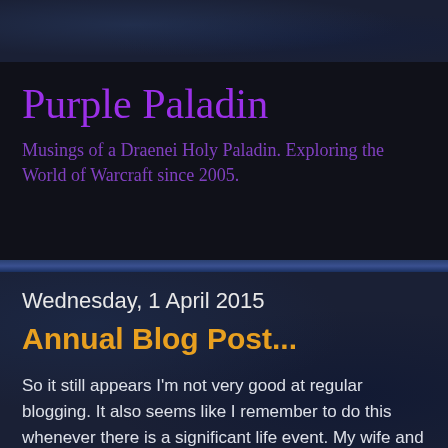Purple Paladin
Musings of a Draenei Holy Paladin. Exploring the World of Warcraft since 2005.
Wednesday, 1 April 2015
Annual Blog Post...
So it still appears I'm not very good at regular blogging. It also seems like I remember to do this whenever there is a significant life event. My wife and I are currently waiting for the birth of our second child, so I will be ramping down the game time again imminently.
Where do we start? Balkoi has been my main focus again for